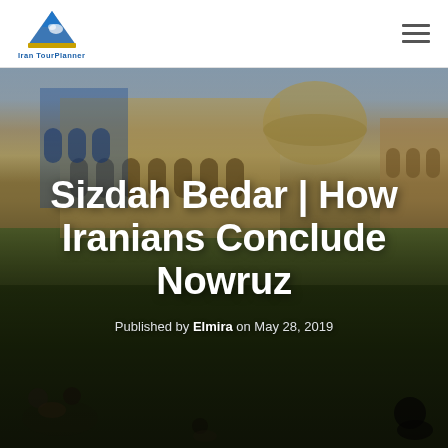Iran Tourlaner (logo) | hamburger menu
[Figure (photo): Outdoor scene in Iran showing people sitting on green grass in front of a large historic mosque/palace with arched facades and a dome, in warm golden-hour light. Groups of people are picnicking and socializing on the lawn.]
Sizdah Bedar | How Iranians Conclude Nowruz
Published by Elmira on May 28, 2019